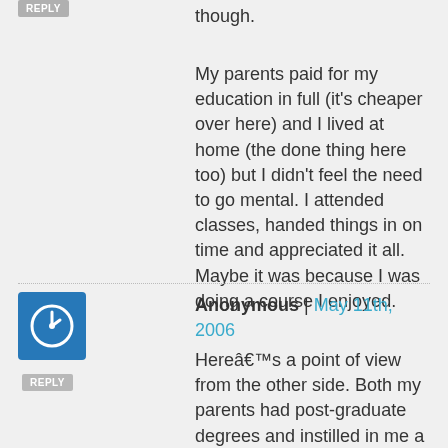though.
My parents paid for my education in full (it's cheaper over here) and I lived at home (the done thing here too) but I didn't feel the need to go mental. I attended classes, handed things in on time and appreciated it all. Maybe it was because I was doing a course I enjoyed.
Anonymous | May 11th, 2006
Hereâ€™s a point of view from the other side. Both my parents had post-graduate degrees and instilled in me a deep appreciation for education and the expectation that I would attend college. But they didnâ€™t set aside a cent for my college, nor did they discuss with me that college actually cost money so that I should look into